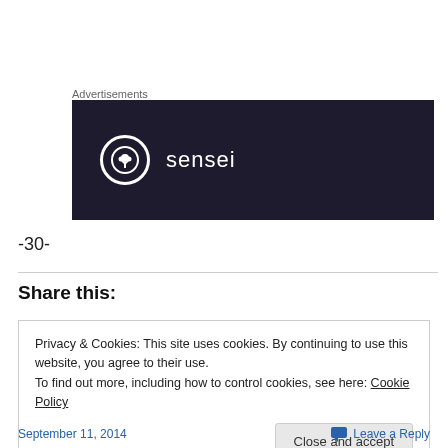Advertisements
[Figure (logo): Sensei logo: dark navy rectangle with a white circle containing a bonsai tree icon and the word 'sensei' in white text]
-30-
Share this:
Privacy & Cookies: This site uses cookies. By continuing to use this website, you agree to their use.
To find out more, including how to control cookies, see here: Cookie Policy

Close and accept
September 11, 2014    Leave a Reply